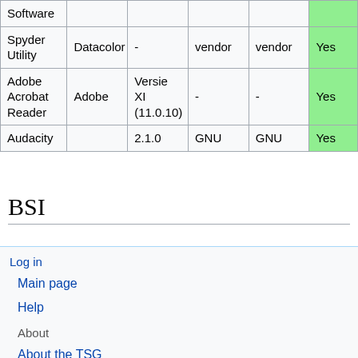| Software | Vendor | Version | License Source | License Type | Approved |
| --- | --- | --- | --- | --- | --- |
| Software |  |  |  |  |  |
| Spyder Utility | Datacolor | - | vendor | vendor | Yes |
| Adobe Acrobat Reader | Adobe | Versie XI (11.0.10) | - | - | Yes |
| Audacity |  | 2.1.0 | GNU | GNU | Yes |
BSI
Log in
Main page
Help
About
About the TSG